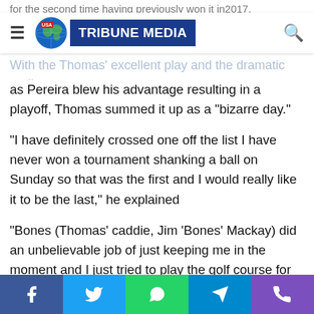USA Tribune Media
for the second time having previously won it in2017.
With the Thomas' excellent play and the dramatic ending as Pereira blew his advantage resulting in a playoff, Thomas summed it up as a "bizarre day."
"I have definitely crossed one off the list I have never won a tournament shanking a ball on Sunday so that was the first and I would really like it to be the last," he explained
"Bones (Thomas' caddie, Jim 'Bones' Mackay) did an unbelievable job of just keeping me in the moment and I just tried to play the golf course for what it is.
"This place is so tough. It was funny I was asked earlier in the week about what lead is safe and I said 'no lead'